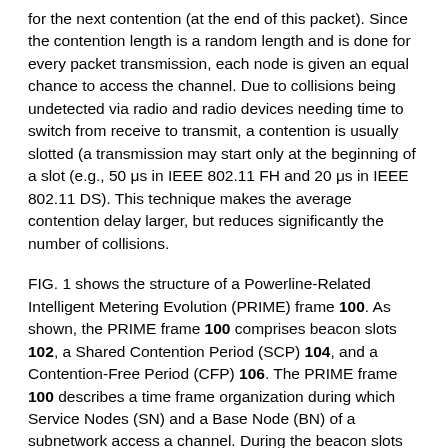for the next contention (at the end of this packet). Since the contention length is a random length and is done for every packet transmission, each node is given an equal chance to access the channel. Due to collisions being undetected via radio and radio devices needing time to switch from receive to transmit, a contention is usually slotted (a transmission may start only at the beginning of a slot (e.g., 50 μs in IEEE 802.11 FH and 20 μs in IEEE 802.11 DS). This technique makes the average contention delay larger, but reduces significantly the number of collisions.
FIG. 1 shows the structure of a Powerline-Related Intelligent Metering Evolution (PRIME) frame 100. As shown, the PRIME frame 100 comprises beacon slots 102, a Shared Contention Period (SCP) 104, and a Contention-Free Period (CFP) 106. The PRIME frame 100 describes a time frame organization during which Service Nodes (SN) and a Base Node (BN) of a subnetwork access a channel. During the beacon slots 102, specific slots are allocated to enable transmission of beacons by BN or SN. During the SCP 104, any of the devices of a subnetwork can transmit data. The SCP 104 starts immediately after the end of the beacon-slot(s) 102 of the PRIME frame 100. Collisions resulting from simultaneous attempt to access the channel are avoided by the CSMA-CA mechanisms described herein. The length of the SCP 104 may change from one frame to another and is indicated by information in the Beacon corresponding to each PRIME frame 100. However, use of the SCP 104 is not restricted to PRIME frames